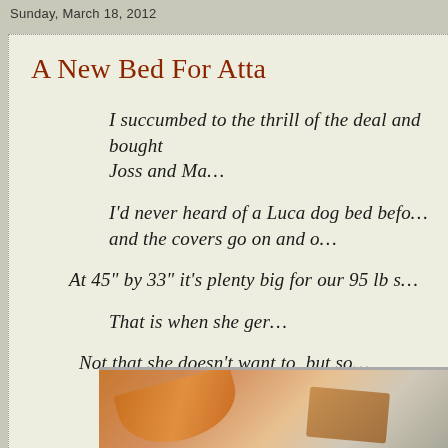Sunday, March 18, 2012
A New Bed For Atta
I succumbed to the thrill of the deal and bought … Joss and Ma…
I'd never heard of a Luca dog bed befo… and the covers go on and o…
At 45" by 33" it's plenty big for our 95 lb s…
That is when she ger…
Not that she doesn't want to, but so…
And Atta won't ask Her H…
[Figure (photo): A photo showing what appears to be a dog bed, possibly orange/tan colored fabric, partially visible at the bottom of the page.]